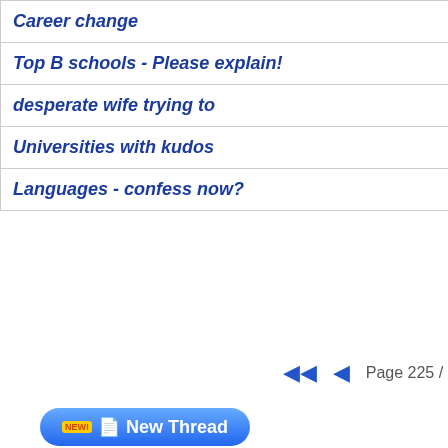| Topic | Replies | Date |
| --- | --- | --- |
| Career change | 1 | 22.09.06 |
| Top B schools - Please explain! | 7 | 21.09.06 |
| desperate wife trying to | 16 | 21.09.06 |
| Universities with kudos | 14 | 21.09.06 |
| Languages - confess now? | 7 | 21.09.06 |
Page 225 / 305
New Thread
Accenture pulling out of NHS p...
#1 Accenture pulling out of NHS project 28/09/2006 19:42
Dave
I gather from the Channel 4 news Accenture is pulling out of NHS project "due to subcontracter problems".

How will this likely to affect its standing?

D
[Figure (other): Orange vertical banner advertisement reading 'Advertise Your Jobs!']